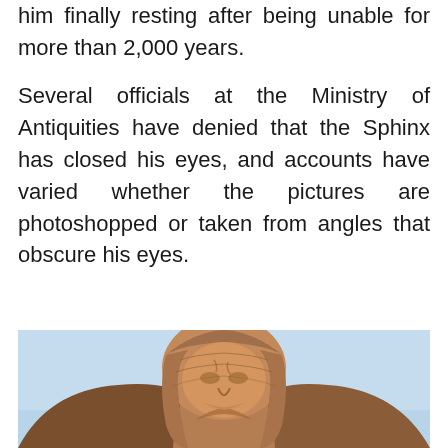him finally resting after being unable for more than 2,000 years.
Several officials at the Ministry of Antiquities have denied that the Sphinx has closed his eyes, and accounts have varied whether the pictures are photoshopped or taken from angles that obscure his eyes.
[Figure (photo): Close-up photograph of the Great Sphinx of Giza against a light blue sky, showing the head and upper body of the limestone statue from a slightly elevated angle.]